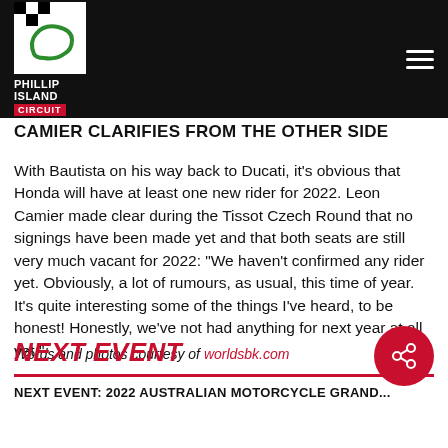PHILLIP ISLAND CIRCUIT
CAMIER CLARIFIES FROM THE OTHER SIDE
With Bautista on his way back to Ducati, it's obvious that Honda will have at least one new rider for 2022. Leon Camier made clear during the Tissot Czech Round that no signings have been made yet and that both seats are still very much vacant for 2022: “We haven’t confirmed any rider yet. Obviously, a lot of rumours, as usual, this time of year. It’s quite interesting some of the things I’ve heard, to be honest! Honestly, we’ve not had anything for next year at all yet.”
Words and photos courtesy of worldsbk.com
NEXT EVENT
NEXT EVENT: 2022 Australian Motorcycle Grand...